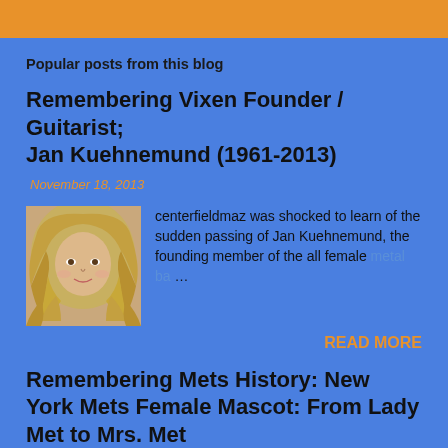Popular posts from this blog
Remembering Vixen Founder / Guitarist; Jan Kuehnemund (1961-2013)
November 18, 2013
[Figure (photo): Portrait photo of Jan Kuehnemund, a woman with long blonde wavy hair]
centerfieldmaz was shocked to learn of the sudden passing of Jan Kuehnemund, the founding member of the all female metal ba…
READ MORE
Remembering Mets History: New York Mets Female Mascot: From Lady Met to Mrs. Met